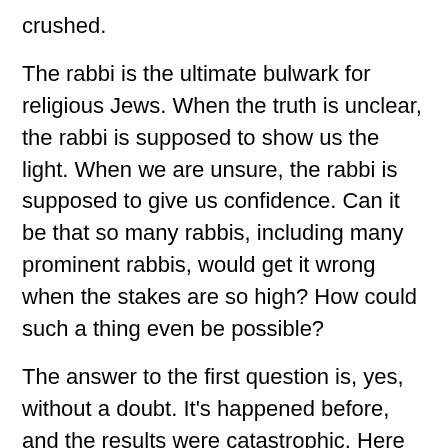crushed.
The rabbi is the ultimate bulwark for religious Jews. When the truth is unclear, the rabbi is supposed to show us the light. When we are unsure, the rabbi is supposed to give us confidence. Can it be that so many rabbis, including many prominent rabbis, would get it wrong when the stakes are so high? How could such a thing even be possible?
The answer to the first question is, yes, without a doubt. It's happened before, and the results were catastrophic. Here are just a few examples.
The Jews in the desert sent twelve spies to Israel. These were the best of the best: heads of tribes, great rabbis, extremely "religious" Jews. Ten of them became corrupted